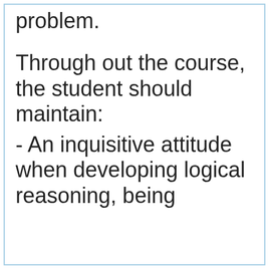problem.
Through out the course, the student should maintain:
- An inquisitive attitude when developing logical reasoning, being